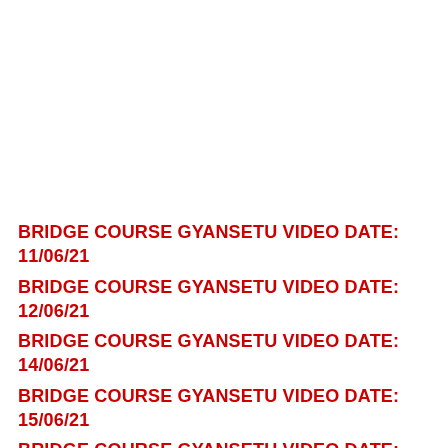BRIDGE COURSE GYANSETU VIDEO DATE: 11/06/21
BRIDGE COURSE GYANSETU VIDEO DATE: 12/06/21
BRIDGE COURSE GYANSETU VIDEO DATE: 14/06/21
BRIDGE COURSE GYANSETU VIDEO DATE: 15/06/21
BRIDGE COURSE GYANSETU VIDEO DATE: 16/06/21
BRIDGE COURSE GYANSETU VIDEO DATE: 17/06/21